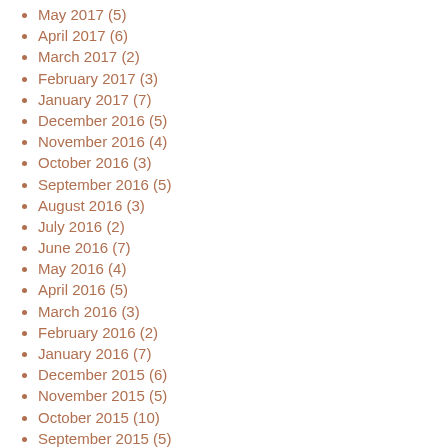May 2017 (5)
April 2017 (6)
March 2017 (2)
February 2017 (3)
January 2017 (7)
December 2016 (5)
November 2016 (4)
October 2016 (3)
September 2016 (5)
August 2016 (3)
July 2016 (2)
June 2016 (7)
May 2016 (4)
April 2016 (5)
March 2016 (3)
February 2016 (2)
January 2016 (7)
December 2015 (6)
November 2015 (5)
October 2015 (10)
September 2015 (5)
August 2015 (4)
July 2015 (5)